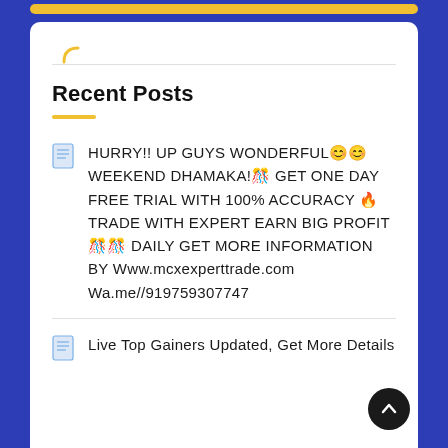Recent Posts
HURRY!! UP GUYS WONDERFUL😊😊 WEEKEND DHAMAKA!🎊 GET ONE DAY FREE TRIAL WITH 100% ACCURACY 🔥TRADE WITH EXPERT EARN BIG PROFIT🎊🎊 DAILY GET MORE INFORMATION BY Www.mcxexperttrade.com Wa.me//919759307747
Live Top Gainers Updated, Get More Details